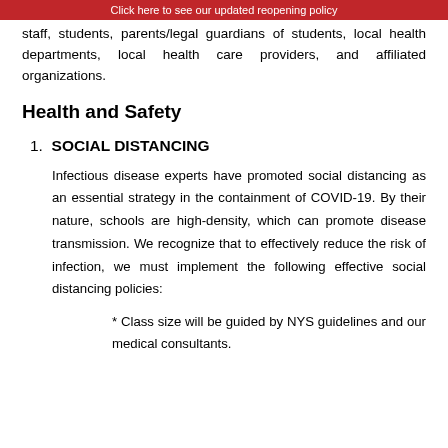Click here to see our updated reopening policy
staff, students, parents/legal guardians of students, local health departments, local health care providers, and affiliated organizations.
Health and Safety
1. SOCIAL DISTANCING
Infectious disease experts have promoted social distancing as an essential strategy in the containment of COVID-19. By their nature, schools are high-density, which can promote disease transmission. We recognize that to effectively reduce the risk of infection, we must implement the following effective social distancing policies:
* Class size will be guided by NYS guidelines and our medical consultants.